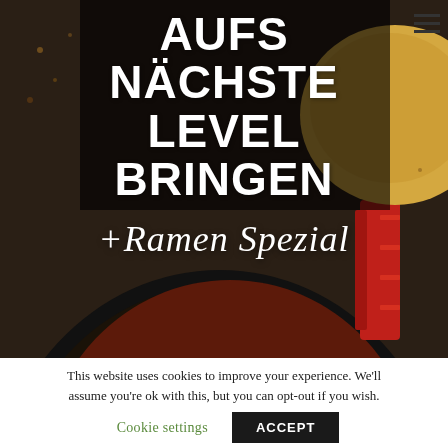[Figure (photo): Food photography showing a dark cast iron pan with a braised meat dish topped with cream and lemon slices, alongside a partially visible bread roll. Large white bold text overlay reads 'AUFS NÄCHSTE LEVEL BRINGEN' with script text '+Ramen Spezial' below. Navigation hamburger menu icon in upper right corner.]
This website uses cookies to improve your experience. We'll assume you're ok with this, but you can opt-out if you wish.
Cookie settings
ACCEPT